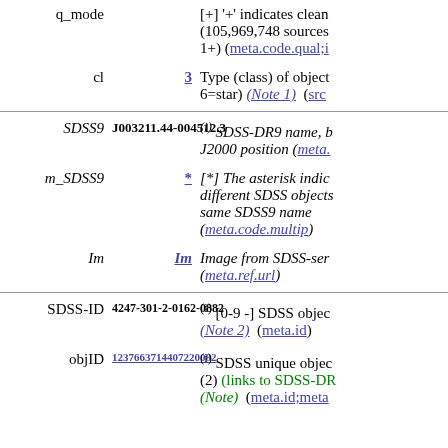| Name | Value | Description |
| --- | --- | --- |
| q_mode |  | [+] '+' indicates clean (105,969,748 sources 1+) (meta.code.qual;instr.setup) |
| cl | 3 | Type (class) of object (3=galaxy, 6=star) (Note 1) (src.class) |
| SDSS9 | J003211.44-004512.3 | (i) SDSS-DR9 name, based on J2000 position (meta.id;meta.main) |
| m_SDSS9 | * | [*] The asterisk indicates different SDSS objects have the same SDSS9 name (meta.code.multip) |
| Im | Im | Image from SDSS-server (meta.ref.url) |
| SDSS-ID | 4247-301-2-0162-0882 | (i) [0-9 -] SDSS object identification (Note 2) (meta.id) |
| objID | 1237663714407220082 | (i) SDSS unique object ID (2) (links to SDSS-DR7) (Note) (meta.id;meta.main) |